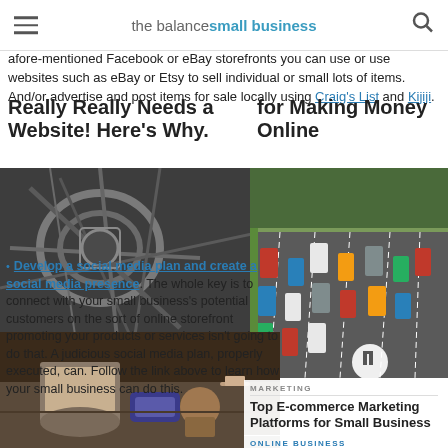the balance small business
afore-mentioned Facebook or eBay storefronts you can use or use websites such as eBay or Etsy to sell individual or small lots of items. And/or advertise and post items for sale locally using Craig's List and Kijiji.
Really Really Needs a Website! Here's Why.
for Making Money Online
[Figure (photo): Close-up of tangled electrical wires or cables]
[Figure (photo): Aerial view of heavy traffic on a multi-lane highway]
Develop a social media plan and create a social media presence. The whole key is to connect with your small business's potential customers on the sort of online storefront promoting your products or services isn't going to do that. A judicious social media plan, properly executed, can. Follow the link above to learn how your small business can do this.
MARKETING
Top E-commerce Marketing Platforms for Small Business
ONLINE BUSINESS
29 Ways to Drive Traffic to Your Business Website
[Figure (photo): Person at desk with phone and wallet, small business setting]